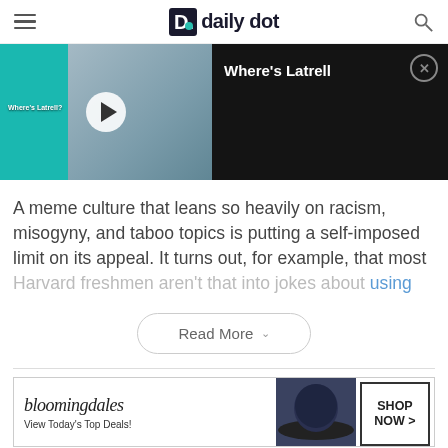Daily Dot
[Figure (screenshot): Video thumbnail showing 'Where's Latrell' with a teal background and surgical scene, with title panel on dark background]
A meme culture that leans so heavily on racism, misogyny, and taboo topics is putting a self-imposed limit on its appeal. It turns out, for example, that most Harvard freshmen aren't that into jokes about using
[Figure (other): Read More button with chevron]
[Figure (other): Bloomingdale's advertisement banner: 'View Today's Top Deals! SHOP NOW >']